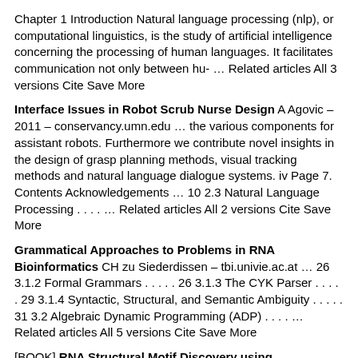Chapter 1 Introduction Natural language processing (nlp), or computational linguistics, is the study of artificial intelligence concerning the processing of human languages. It facilitates communication not only between hu- … Related articles All 3 versions Cite Save More
Interface Issues in Robot Scrub Nurse Design A Agovic – 2011 – conservancy.umn.edu … the various components for assistant robots. Furthermore we contribute novel insights in the design of grasp planning methods, visual tracking methods and natural language dialogue systems. iv Page 7. Contents Acknowledgements … 10 2.3 Natural Language Processing . . . . … Related articles All 2 versions Cite Save More
Grammatical Approaches to Problems in RNA Bioinformatics CH zu Siederdissen – tbi.univie.ac.at … 26 3.1.2 Formal Grammars . . . . . 26 3.1.3 The CYK Parser . . . . . 29 3.1.4 Syntactic, Structural, and Semantic Ambiguity . . . . . 31 3.2 Algebraic Dynamic Programming (ADP) . . . . … Related articles All 5 versions Cite Save More
[BOOK] RNA Structural Motif Discovery using Probabilistic Tree Adjoining Grammars. E Bahrami Samani – 2009 – dspace.hil.unb.ca Page 1. RNA Structural Motif